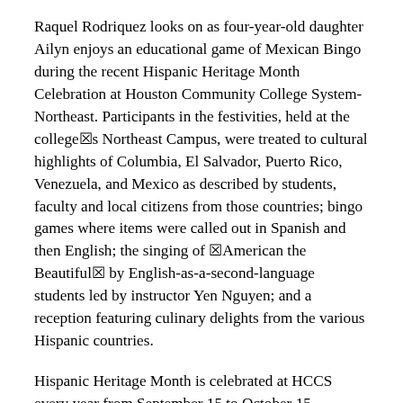Raquel Rodriquez looks on as four-year-old daughter Ailyn enjoys an educational game of Mexican Bingo during the recent Hispanic Heritage Month Celebration at Houston Community College System-Northeast. Participants in the festivities, held at the college☒s Northeast Campus, were treated to cultural highlights of Columbia, El Salvador, Puerto Rico, Venezuela, and Mexico as described by students, faculty and local citizens from those countries; bingo games where items were called out in Spanish and then English; the singing of ☒American the Beautiful☒ by English-as-a-second-language students led by instructor Yen Nguyen; and a reception featuring culinary delights from the various Hispanic countries.
Hispanic Heritage Month is celebrated at HCCS every year from September 15 to October 15.
Continue reading